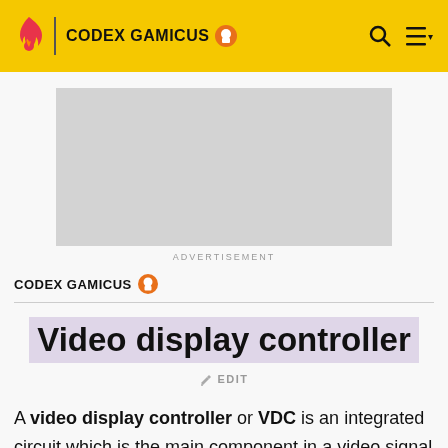CODEX GAMICUS
[Figure (other): Advertisement placeholder gray rectangle]
ADVERTISEMENT
CODEX GAMICUS
Video display controller
✏ EDIT
A video display controller or VDC is an integrated circuit which is the main component in a video signal generator, a device responsible for the production of a TV